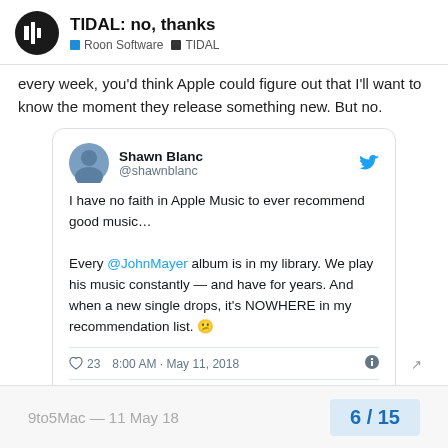TIDAL: no, thanks | Roon Software | TIDAL
every week, you'd think Apple could figure out that I'll want to know the moment they release something new. But no.
[Figure (screenshot): Embedded tweet by @shawnblanc: 'I have no faith in Apple Music to ever recommend good music... Every @JohnMayer album is in my library. We play his music constantly — and have for years. And when a new single drops, it's NOWHERE in my recommendation list. 23 likes, 8:00 AM - May 11, 2018. 15 people are talking about this.']
9to5Mac — 11 May 18   6 / 15